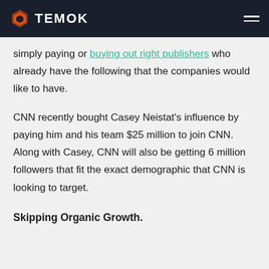TEMOK
simply paying or buying out right publishers who already have the following that the companies would like to have.
CNN recently bought Casey Neistat's influence by paying him and his team $25 million to join CNN. Along with Casey, CNN will also be getting 6 million followers that fit the exact demographic that CNN is looking to target.
Skipping Organic Growth.